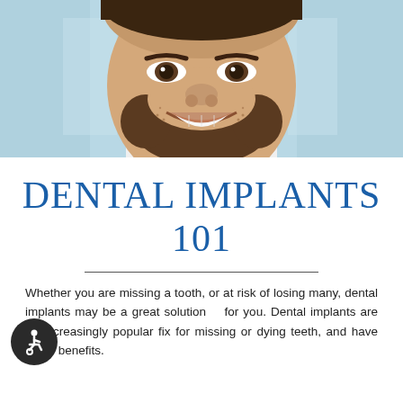[Figure (photo): Close-up photo of a smiling man with a beard and white teeth, against a light blue/grey background]
DENTAL IMPLANTS 101
Whether you are missing a tooth, or at risk of losing many, dental implants may be a great solution   for you. Dental implants are an increasingly popular fix for missing or dying teeth, and have many benefits.